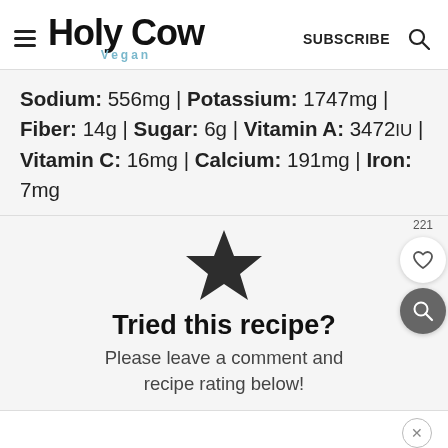Holy Cow Vegan — SUBSCRIBE
Sodium: 556mg | Potassium: 1747mg | Fiber: 14g | Sugar: 6g | Vitamin A: 3472IU | Vitamin C: 16mg | Calcium: 191mg | Iron: 7mg
[Figure (illustration): Black star icon used as a recipe rating prompt]
Tried this recipe? Please leave a comment and recipe rating below!